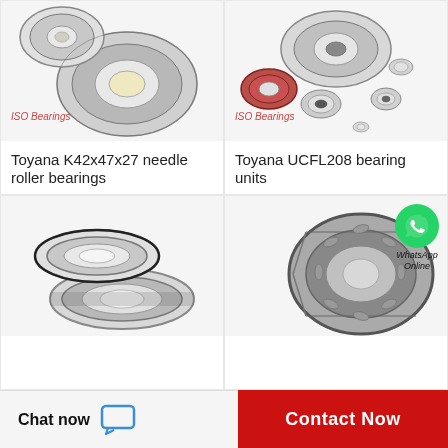[Figure (photo): Two cylindrical/angular contact ball bearings on white background with ISO Bearings label]
ISO Bearings
Toyana K42x47x27 needle roller bearings
[Figure (photo): Multiple small ball bearings of various sizes on white background with ISO Bearings label]
ISO Bearings
Toyana UCFL208 bearing units
[Figure (photo): WhatsApp Online icon with green phone logo and text]
[Figure (photo): Two thin-section sealed ball bearings on white background]
[Figure (photo): Large tapered roller bearing shown in detail]
Chat now
Contact Now